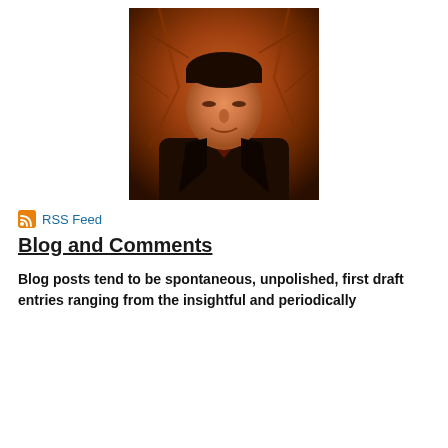[Figure (photo): Portrait photo of a middle-aged man wearing a dark jacket, photographed outdoors against a background of bare trees with warm orange-red lighting.]
RSS Feed
Blog and Comments
Blog posts tend to be spontaneous, unpolished, first draft entries ranging from the insightful and periodically